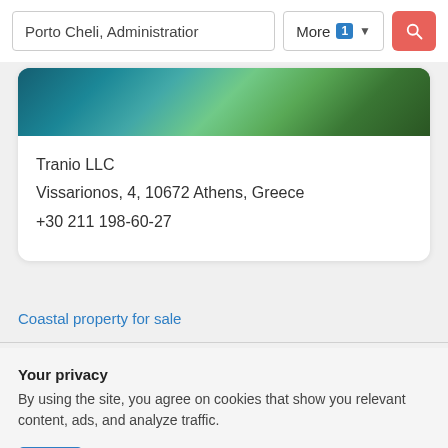Porto Cheli, Administratior
More 1 ▾
[Figure (screenshot): Aerial/coastal photograph of Porto Cheli area showing blue sea and green land]
Tranio LLC
Vissarionos, 4, 10672 Athens, Greece
+30 211 198-60-27
Coastal property for sale
Your privacy
By using the site, you agree on cookies that show you relevant content, ads, and analyze traffic.
Ok
More information